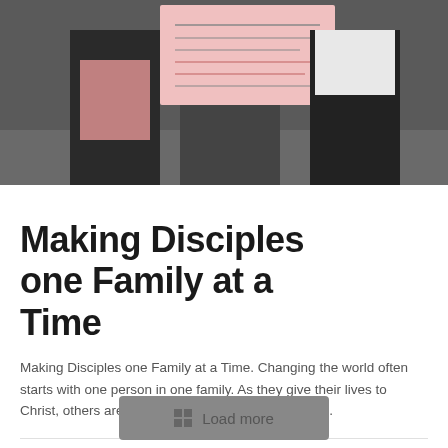[Figure (photo): People holding a poster/sign, photographed indoors against a dark background]
Making Disciples one Family at a Time
Making Disciples one Family at a Time. Changing the world often starts with one person in one family. As they give their lives to Christ, others are impacted and the Gospel spreads.
♡ 42    Read more
Load more